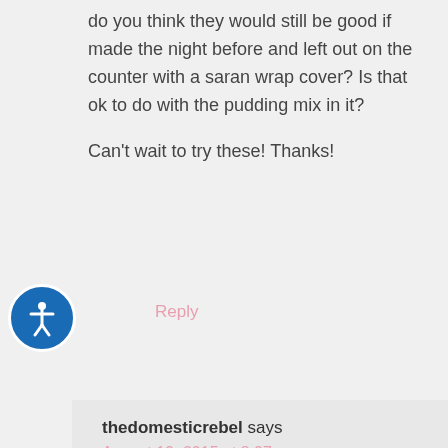do you think they would still be good if made the night before and left out on the counter with a saran wrap cover? Is that ok to do with the pudding mix in it?

Can't wait to try these! Thanks!
Reply
thedomesticrebel says
August 19, 2015 at 8:07 pm
Hi Chelsea! These don't need to be refrigerated – you only